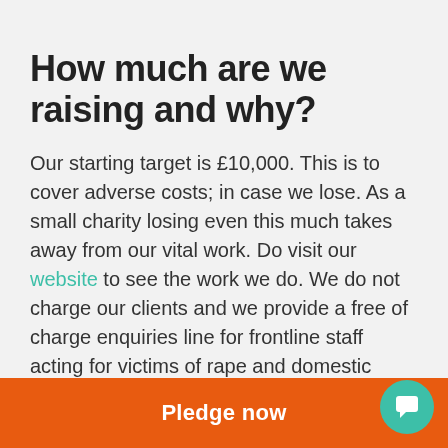How much are we raising and why?
Our starting target is £10,000. This is to cover adverse costs; in case we lose. As a small charity losing even this much takes away from our vital work. Do visit our website to see the work we do. We do not charge our clients and we provide a free of charge enquiries line for frontline staff acting for victims of rape and domestic violence, where a legal issue arises. Our work is vital and unique, and we do not want to risk our ability to provide these
Pledge now